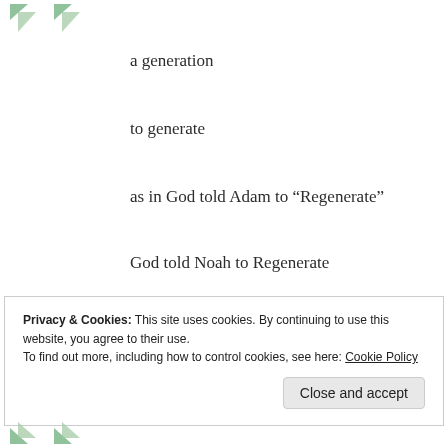[Figure (illustration): Decorative green leaf/arrow corner motifs at top left]
a generation
to generate
as in God told Adam to “Regenerate”
God told Noah to Regenerate
our use of generation is not the same, as in “FOR A Talmudic Jewish Reason” to CONCEAL and Misdirect.
★ Like
Privacy & Cookies: This site uses cookies. By continuing to use this website, you agree to their use.
To find out more, including how to control cookies, see here: Cookie Policy
[Figure (illustration): Decorative green leaf/arrow corner motifs at bottom left]